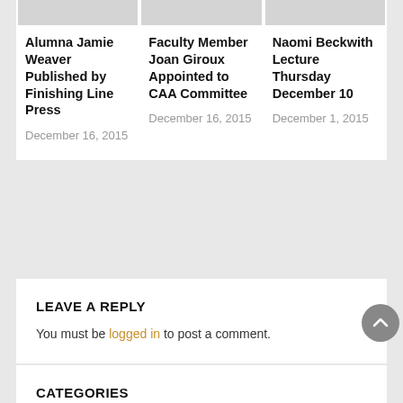[Figure (photo): Three placeholder image thumbnails arranged in a row at the top of the card]
Alumna Jamie Weaver Published by Finishing Line Press
December 16, 2015
Faculty Member Joan Giroux Appointed to CAA Committee
December 16, 2015
Naomi Beckwith Lecture Thursday December 10
December 1, 2015
LEAVE A REPLY
You must be logged in to post a comment.
CATEGORIES
Alumni News